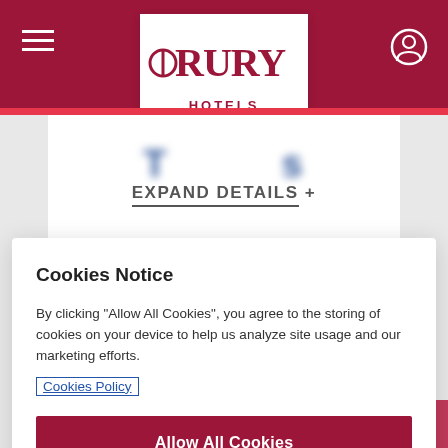[Figure (logo): Drury Hotels logo in white box on dark red header bar]
EXPAND DETAILS +
Cookies Notice
By clicking "Allow All Cookies", you agree to the storing of cookies on your device to help us analyze site usage and our marketing efforts.
Cookies Policy
Allow All Cookies
Cookie Preferences